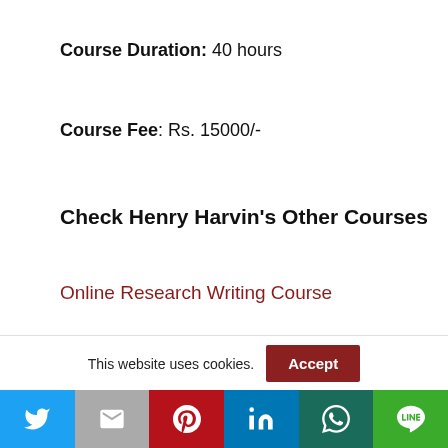Course Duration: 40 hours
Course Fee: Rs. 15000/-
Check Henry Harvin's Other Courses
Online Research Writing Course
Best Technical Writing Course
This website uses cookies.
Social share bar: Twitter, Gmail, Pinterest, LinkedIn, WhatsApp, Line